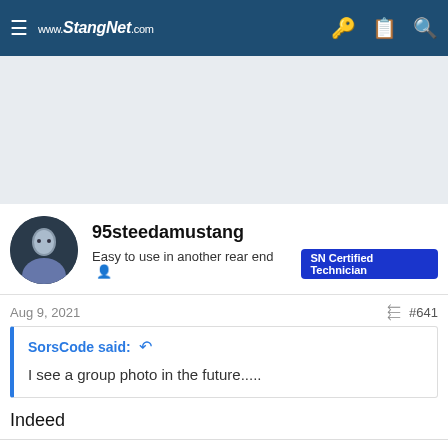www.StangNet.com
[Figure (other): Advertisement banner placeholder (gray background)]
95steedamustang
Easy to use in another rear end  SN Certified Technician
Aug 9, 2021  #641
SorsCode said:
I see a group photo in the future.....
Indeed